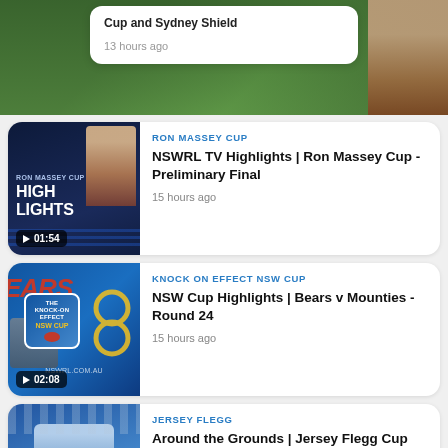[Figure (photo): Partial top card showing a rugby field background with white card overlay showing title partially cut off and '13 hours ago']
13 hours ago
[Figure (photo): Ron Massey Cup Highlights video thumbnail with dark blue background, player image, and HIGHLIGHTS text]
RON MASSEY CUP
NSWRL TV Highlights | Ron Massey Cup - Preliminary Final
15 hours ago
[Figure (photo): Knock On Effect NSW Cup video thumbnail showing Bears team graphic with blue background and gold ring design]
KNOCK ON EFFECT NSW CUP
NSW Cup Highlights | Bears v Mounties - Round 24
15 hours ago
[Figure (photo): Jersey Flegg Cup - player running with ball on field]
JERSEY FLEGG
Around the Grounds | Jersey Flegg Cup Round 24